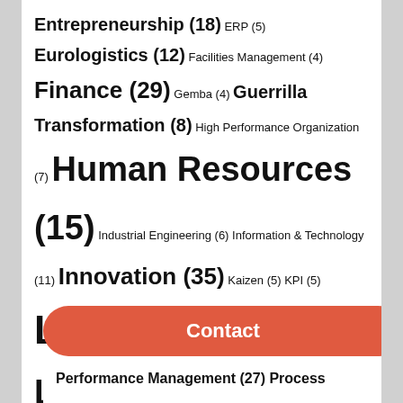Entrepreneurship (18) ERP (5) Eurologistics (12) Facilities Management (4) Finance (29) Gemba (4) Guerrilla Transformation (8) High Performance Organization (7) Human Resources (15) Industrial Engineering (6) Information & Technology (11) Innovation (35) Kaizen (5) KPI (5) Leadership (101) Lean (66) Lean Management Journal (16) Lean Six Sigma (39) Logistics (7) Management (6) Manufacturing (12) Mentorship (14) Operational Excellence (67) Operational Excellence (67) Operational Excellence ...
Contact
Performance Management (27) Process ...